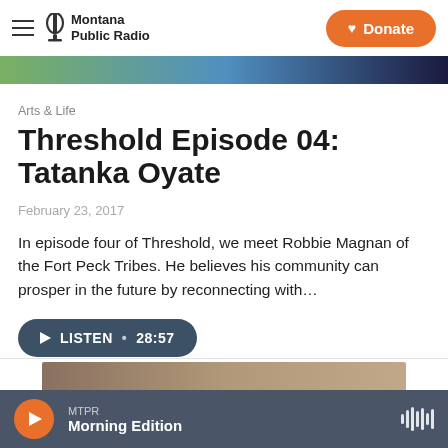Montana Public Radio | Donate
[Figure (photo): Partial hero image strip at top of article]
Arts & Life
Threshold Episode 04: Tatanka Oyate
February 23, 2017
In episode four of Threshold, we meet Robbie Magnan of the Fort Peck Tribes. He believes his community can prosper in the future by reconnecting with…
LISTEN • 28:57
[Figure (photo): Partial bottom article thumbnail image strip]
MTPR Morning Edition